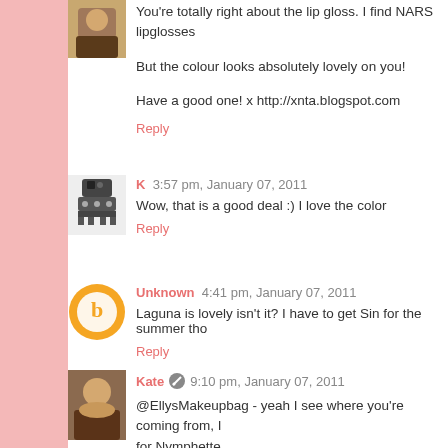You're totally right about the lip gloss. I find NARS lipglosses
But the colour looks absolutely lovely on you!
Have a good one! x http://xnta.blogspot.com
Reply
K  3:57 pm, January 07, 2011
Wow, that is a good deal :) I love the color
Reply
Unknown  4:41 pm, January 07, 2011
Laguna is lovely isn't it? I have to get Sin for the summer tho
Reply
Kate  9:10 pm, January 07, 2011
@EllysMakeupbag - yeah I see where you're coming from, I for Nymphette